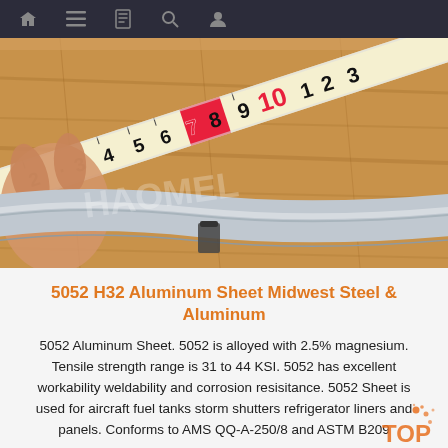Navigation bar with icons: home, menu, book, search, user
[Figure (photo): Close-up photo of a person measuring a curved metal strip (aluminum sheet) with a tape measure on a wooden surface. The tape measure shows numbers 2 through 3. Watermark text reads 'HAOMEL' or similar.]
5052 H32 Aluminum Sheet Midwest Steel & Aluminum
5052 Aluminum Sheet. 5052 is alloyed with 2.5% magnesium. Tensile strength range is 31 to 44 KSI. 5052 has excellent workability weldability and corrosion resisitance. 5052 Sheet is used for aircraft fuel tanks storm shutters refrigerator liners and panels. Conforms to AMS QQ-A-250/8 and ASTM B209